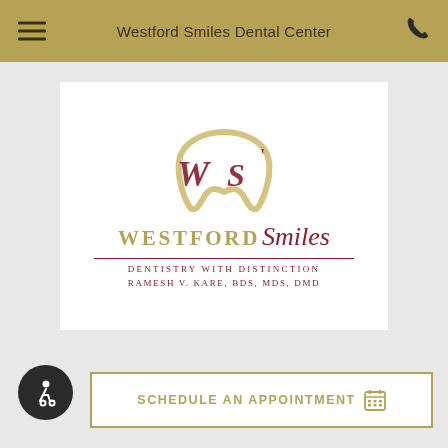Westford Smiles Dental Center
[Figure (logo): Westford Smiles Dental Center logo featuring a stylized tooth outline in gold/beige with 'WS' monogram letters, bold gold uppercase text 'WESTFORD' followed by italic crimson script 'Smiles', a crimson horizontal divider line, and beneath it in crimson spaced uppercase text: 'DENTISTRY WITH DISTINCTION' and 'RAMESH V. KARE, BDS, MDS, DMD']
SCHEDULE AN APPOINTMENT